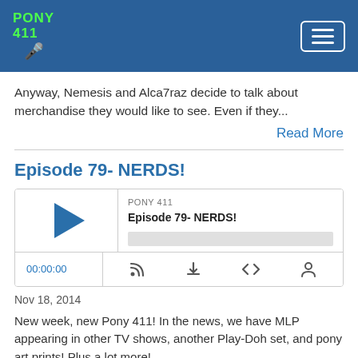PONY 411
Anyway, Nemesis and Alca7raz decide to talk about merchandise they would like to see. Even if they...
Read More
Episode 79- NERDS!
[Figure (other): Podcast audio player widget showing PONY 411 Episode 79- NERDS! with play button, progress bar, time display 00:00:00, and control icons for RSS, download, embed, and user.]
Nov 18, 2014
New week, new Pony 411! In the news, we have MLP appearing in other TV shows, another Play-Doh set, and pony art prints! Plus a lot more!
Alca7raz and Nemesis then talk about "Read It and Weep" for the discussion. Our introduction to Rainbow Dash's love...